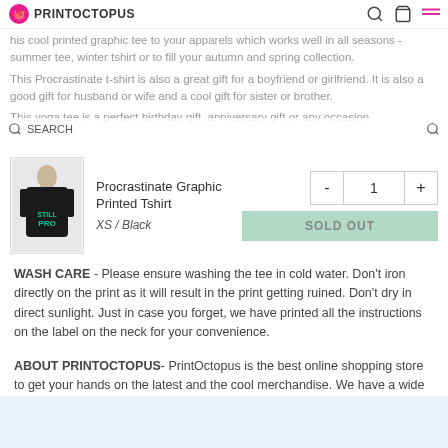PRINTOCTOPUS
his cool printed graphic tee to your apparels which works well in all seasons - summer tee, winter tshirt or to fill your autumn and spring collection. This Procrastinate t-shirt is also a great gift for a boyfriend or girlfriend. It is also a good gift for husband or wife and a cool gift for sister or brother. This yoga tee is a perfect birthday gift, anniversary gift or any occasion.
[Figure (photo): Product image of a man wearing a black graphic printed tshirt]
Procrastinate Graphic Printed Tshirt
XS / Black
- 1 + SOLD OUT
WASH CARE - Please ensure washing the tee in cold water. Don't iron directly on the print as it will result in the print getting ruined. Don't dry in direct sunlight. Just in case you forget, we have printed all the instructions on the label on the neck for your convenience.
ABOUT PRINTOCTOPUS- PrintOctopus is the best online shopping store to get your hands on the latest and the cool merchandise. We have a wide range of products that include tshirts, pin badges, dream catchers and much more that will help liven up your life and hostel room decor.